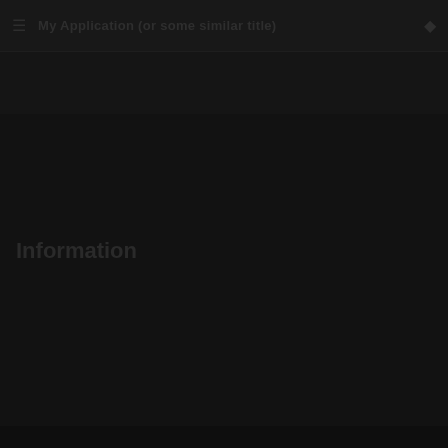≡  My Application (or some similar title)  ♦
Information